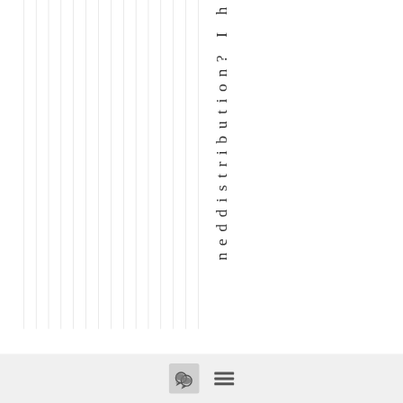[Figure (other): Vertical gray striped lines covering the left portion of the page, with vertical text reading 'neddistribution? I h' on the right side of the stripes]
neddistribution? I h
[Figure (other): Bottom toolbar with a comment/speech bubble icon button and a hamburger menu icon]